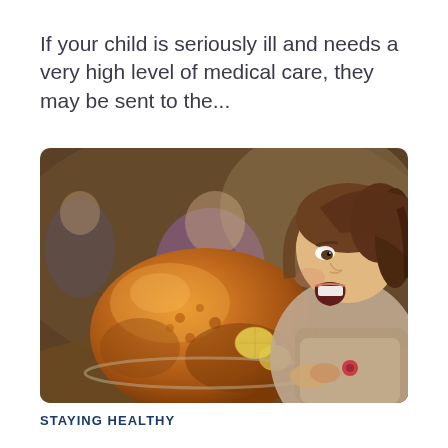If your child is seriously ill and needs a very high level of medical care, they may be sent to the...
[Figure (photo): A young girl with her mouth open wide, excitedly looking at a large roasted turkey on a table. In the background, two blurred adults are visible. The scene appears to be a holiday dinner setting.]
STAYING HEALTHY